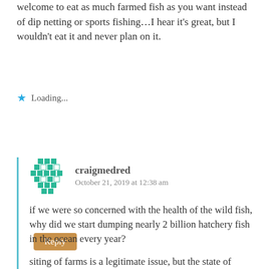welcome to eat as much farmed fish as you want instead of dip netting or sports fishing…I hear it's great, but I wouldn't eat it and never plan on it.
Loading...
Reply
craigmedred
October 21, 2019 at 12:38 am
if we were so concerned with the health of the wild fish, why did we start dumping nearly 2 billion hatchery fish in the ocean every year?
siting of farms is a legitimate issue, but the state of Alaska never got to that point. it commissioned a thorough analysis of the environmental risks. it concluded they were small.
the Legislature subsequently decided the financial risks were big and banned salmon farms. that's the history.